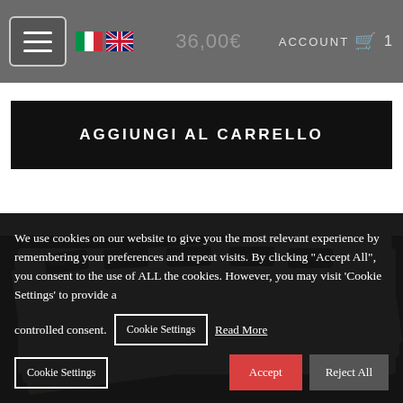36,00€  ACCOUNT  🛒 1
AGGIUNGI AL CARRELLO
[Figure (photo): Product photo showing booklets or tickets with numbered tabs (S/01, S/02, S/03, S/04, S/07 visible) against a dark/black background]
We use cookies on our website to give you the most relevant experience by remembering your preferences and repeat visits. By clicking "Accept All", you consent to the use of ALL the cookies. However, you may visit 'Cookie Settings' to provide a controlled consent.